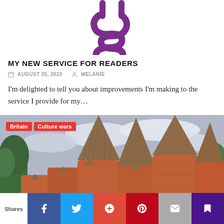[Figure (logo): Purple stylized logo mark — appears to be a coiled/spiral shape in purple, partially cropped at top]
MY NEW SERVICE FOR READERS
AUGUST 30, 2020   MELANIE
I'm delighted to tell you about improvements I'm making to the service I provide for my...
[Figure (photo): Photograph of traditional British oast house kiln towers with conical tiled roofs and red brick cylindrical bases, with trees in background and cloudy sky. Tags: Britain, Culture wars]
Shares